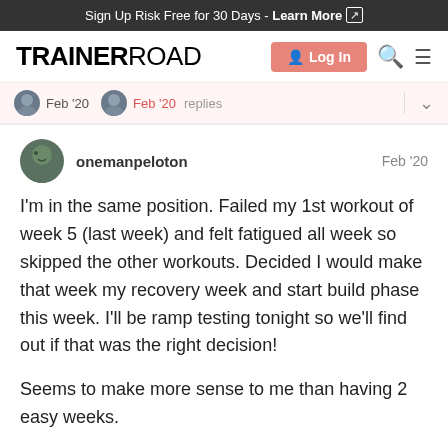Sign Up Risk Free for 30 Days - Learn More
[Figure (logo): TrainerRoad logo with Log In button, search icon, and menu icon]
Feb '20   Feb '20   replies
onemanpeloton   Feb '20
I'm in the same position. Failed my 1st workout of week 5 (last week) and felt fatigued all week so skipped the other workouts. Decided I would make that week my recovery week and start build phase this week. I'll be ramp testing tonight so we'll find out if that was the right decision!
Seems to make more sense to me than having 2 easy weeks.